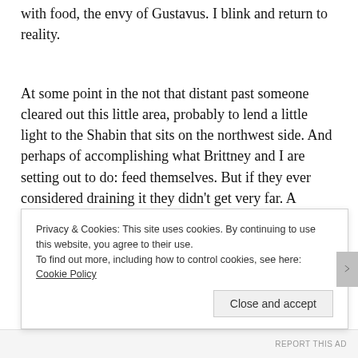with food, the envy of Gustavus. I blink and return to reality.
At some point in the not that distant past someone cleared out this little area, probably to lend a little light to the Shabin that sits on the northwest side. And perhaps of accomplishing what Brittney and I are setting out to do: feed themselves. But if they ever considered draining it they didn't get very far. A couple truckloads of fill (a fancy word for sand and dirt that you pay for) had been brought in on the premise of raising the g s
Privacy & Cookies: This site uses cookies. By continuing to use this website, you agree to their use.
To find out more, including how to control cookies, see here: Cookie Policy
Close and accept
REPORT THIS AD